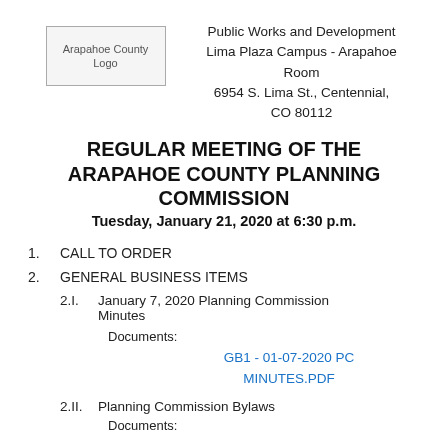[Figure (logo): Arapahoe County Logo]
Public Works and Development
Lima Plaza Campus - Arapahoe Room
6954 S. Lima St., Centennial, CO 80112
REGULAR MEETING OF THE ARAPAHOE COUNTY PLANNING COMMISSION
Tuesday, January 21, 2020 at 6:30 p.m.
1.  CALL TO ORDER
2.  GENERAL BUSINESS ITEMS
2.I.  January 7, 2020 Planning Commission Minutes
Documents:
GB1 - 01-07-2020 PC MINUTES.PDF
2.II.  Planning Commission Bylaws
Documents: